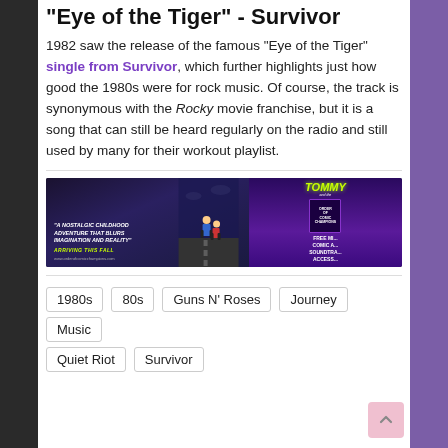"Eye of the Tiger" - Survivor
1982 saw the release of the famous “Eye of the Tiger” single from Survivor, which further highlights just how good the 1980s were for rock music. Of course, the track is synonymous with the Rocky movie franchise, but it is a song that can still be heard regularly on the radio and still used by many for their workout playlist.
[Figure (photo): Advertisement banner for 'Order of Comic Champions' featuring two animated characters walking on a road, with text 'A Nostalgic Childhood Adventure That Blurs Imagination and Reality - Arriving This Fall' and 'Tommy and the Order of Comic Champions' book cover on the right side with 'Free Mini Comic Access Soundtrack' offer. URL: www.orderofcomicchampions.com]
1980s
80s
Guns N' Roses
Journey
Music
Quiet Riot
Survivor